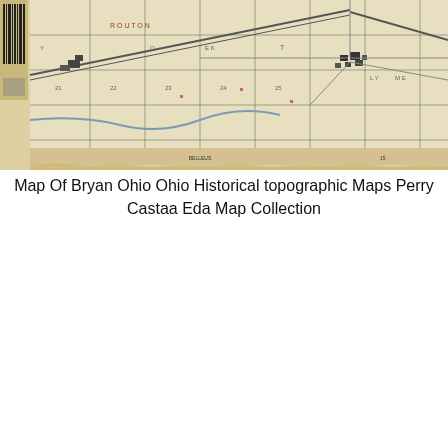[Figure (map): Historical topographic map of Bryan, Ohio area showing grid sections, roads, railroads, rivers, and settlement patterns. The map is printed on aged yellowed paper with black line work and some red/brown markings. A barcode label is visible on the upper left edge.]
Map Of Bryan Ohio Ohio Historical topographic Maps Perry Castaa Eda Map Collection